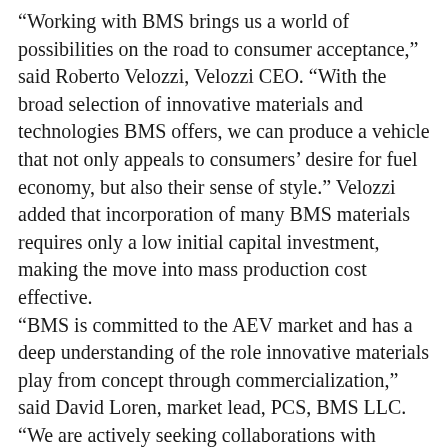“Working with BMS brings us a world of possibilities on the road to consumer acceptance,” said Roberto Velozzi, Velozzi CEO. “With the broad selection of innovative materials and technologies BMS offers, we can produce a vehicle that not only appeals to consumers’ desire for fuel economy, but also their sense of style.” Velozzi added that incorporation of many BMS materials requires only a low initial capital investment, making the move into mass production cost effective. “BMS is committed to the AEV market and has a deep understanding of the role innovative materials play from concept through commercialization,” said David Loren, market lead, PCS, BMS LLC. “We are actively seeking collaborations with suppliers and OEMs, such as Velozzi, to help them navigate through complex AEV challenges such as vehicle weight and manufacturability,” Loren added. Velozzi, based in Los Angeles, California, is a company comprised of world-class scientists, engineers, car builders, and designers dedicated to develop environmental transportation technology to address issues concerning